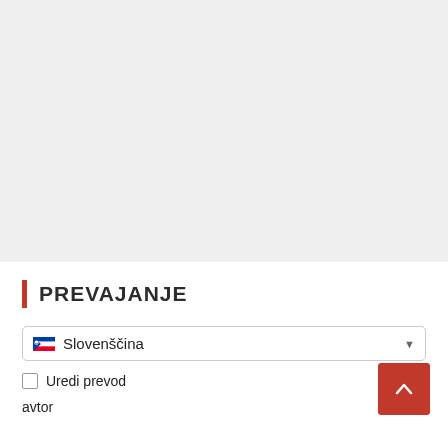PREVAJANJE
Slovenščina
Uredi prevod
avtor